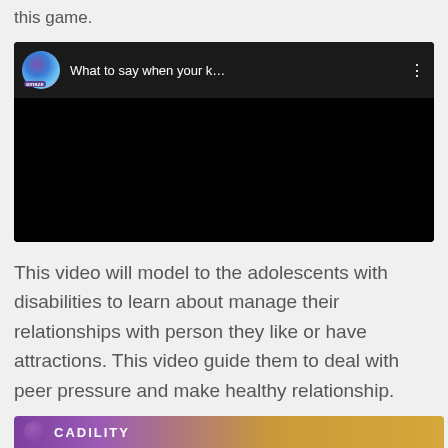this game.
[Figure (screenshot): Embedded video player showing 'amaze' channel with title 'What to say when your k...' on dark background with three-dot menu icon]
This video will model to the adolescents with disabilities to learn about manage their relationships with person they like or have attractions. This video guide them to deal with peer pressure and make healthy relationship.
[Figure (screenshot): Partial thumbnail of another video showing 'CADILITY' or similar text on purple and gold background]